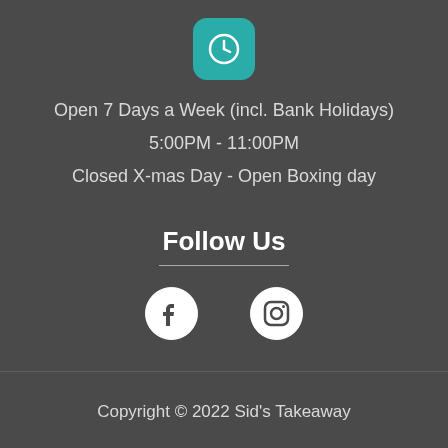[Figure (illustration): Teal rounded square icon with white clock face]
Open 7 Days a Week (incl. Bank Holidays)
5:00PM - 11:00PM
Closed X-mas Day - Open Boxing day
Follow Us
[Figure (illustration): Facebook circle icon and Instagram circle icon side by side]
Copyright © 2022 Sid's Takeaway
Powered by Epos Right